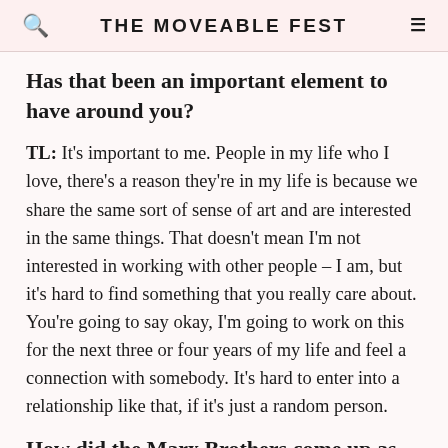THE MOVEABLE FEST
Has that been an important element to have around you?
TL: It's important to me. People in my life who I love, there's a reason they're in my life is because we share the same sort of sense of art and are interested in the same things. That doesn't mean I'm not interested in working with other people – I am, but it's hard to find something that you really care about. You're going to say okay, I'm going to work on this for the next three or four years of my life and feel a connection with somebody. It's hard to enter into a relationship like that, if it's just a random person.
How did the Marx Brothers come up as connective